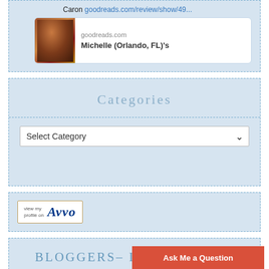Caron goodreads.com/review/show/49...
goodreads.com
Michelle (Orlando, FL)'s
Categories
Select Category
[Figure (logo): Avvo profile badge with text 'view my profile on Avvo']
BLOGGERS– LOOKING FOR BOOKS TO REVIEW?
Sign up for my book reviewer list and